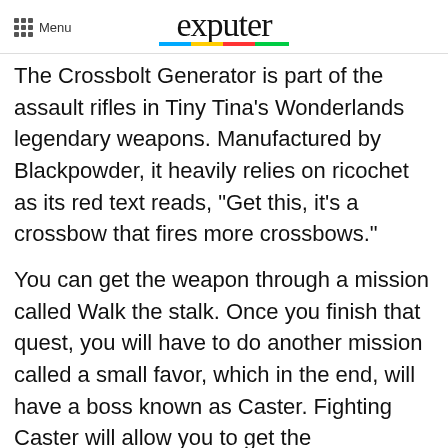Menu | exputer
The Crossbolt Generator is part of the assault rifles in Tiny Tina’s Wonderlands legendary weapons. Manufactured by Blackpowder, it heavily relies on ricochet as its red text reads, “Get this, it’s a crossbow that fires more crossbows.”
You can get the weapon through a mission called Walk the stalk. Once you finish that quest, you will have to do another mission called a small favor, which in the end, will have a boss known as Caster. Fighting Caster will allow you to get the